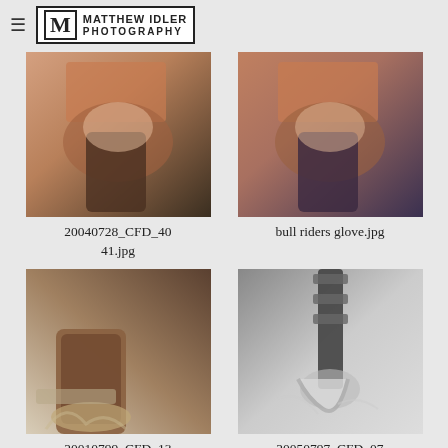Matthew Idler Photography logo with hamburger menu
[Figure (photo): Close-up of bull rider's gloved hand gripping rope, warm tones]
20040728_CFD_4041.jpg
[Figure (photo): Close-up of bull rider's gloved hand gripping rope, similar angle]
bull riders glove.jpg
[Figure (photo): Cowboy boots with fringe at a rodeo, color photo]
20010799_CFD_13
[Figure (photo): Black and white photo of drill bit drilling into wood with sawdust flying]
20050797_CFD_07